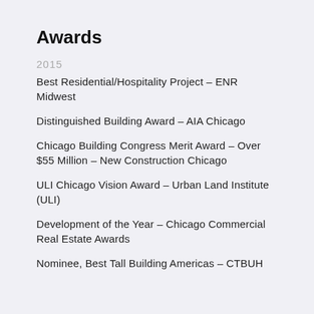Awards
2015
Best Residential/Hospitality Project - ENR Midwest
Distinguished Building Award - AIA Chicago
Chicago Building Congress Merit Award - Over $55 Million - New Construction Chicago
ULI Chicago Vision Award - Urban Land Institute (ULI)
Development of the Year - Chicago Commercial Real Estate Awards
Nominee, Best Tall Building Americas - CTBUH